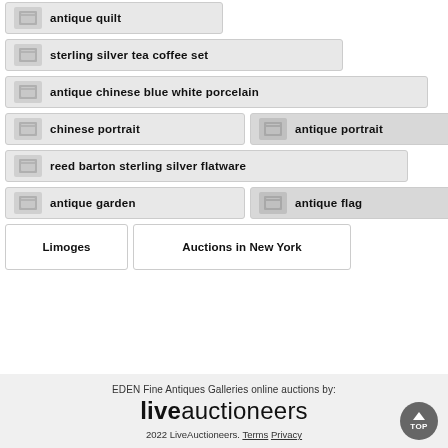antique quilt
sterling silver tea coffee set
antique chinese blue white porcelain
chinese portrait
antique portrait
reed barton sterling silver flatware
antique garden
antique flag
Limoges
Auctions in New York
EDEN Fine Antiques Galleries online auctions by: liveauctioneers 2022 LiveAuctioneers. Terms Privacy